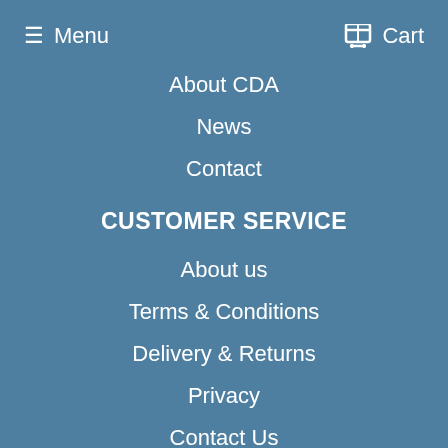≡ Menu   🛒 Cart
About CDA
News
Contact
CUSTOMER SERVICE
About us
Terms & Conditions
Delivery & Returns
Privacy
Contact Us
Competition T&Cs
GET IN TOUCH
Rosewood House, Crays Hill, Billericay  CM11 2XP